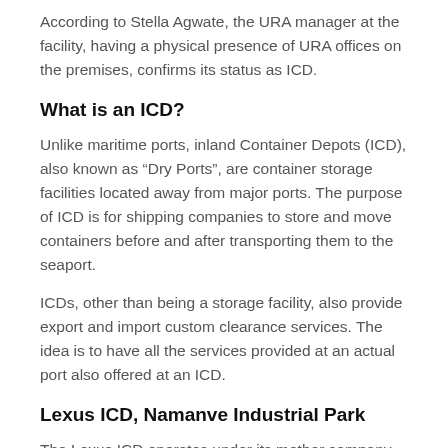According to Stella Agwate, the URA manager at the facility, having a physical presence of URA offices on the premises, confirms its status as ICD.
What is an ICD?
Unlike maritime ports, inland Container Depots (ICD), also known as “Dry Ports”, are container storage facilities located away from major ports. The purpose of ICD is for shipping companies to store and move containers before and after transporting them to the seaport.
ICDs, other than being a storage facility, also provide export and import custom clearance services. The idea is to have all the services provided at an actual port also offered at an ICD.
Lexus ICD, Namanve Industrial Park
The Lexus ICD operates under its mother company,